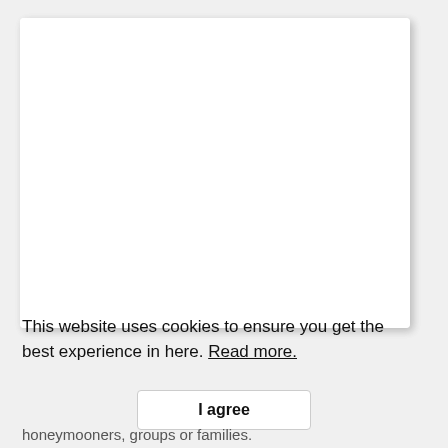[Figure (screenshot): White card/box element representing a webpage screenshot area, mostly blank white content]
This website uses cookies to ensure you get the best experience in here. Read more.
I agree
honeymooners, groups or families.